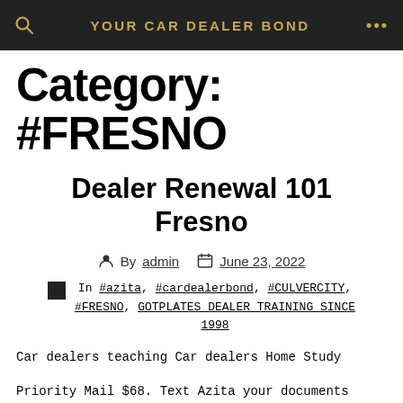YOUR CAR DEALER BOND
Category: #FRESNO
Dealer Renewal 101 Fresno
By admin   June 23, 2022
In #azita, #cardealerbond, #CULVERCITY, #FRESNO, GOTPLATES DEALER TRAINING SINCE 1998
Car dealers teaching Car dealers Home Study
Priority Mail $68. Text Azita your documents Photo